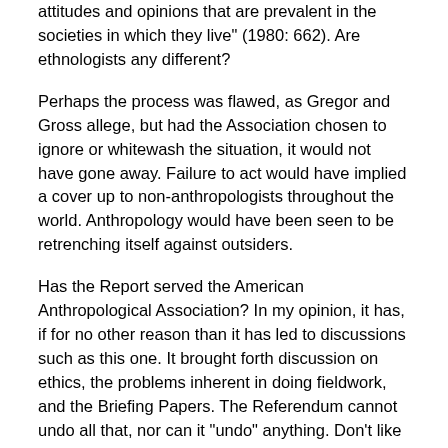attitudes and opinions that are prevalent in the societies in which they live" (1980: 662). Are ethnologists any different?
Perhaps the process was flawed, as Gregor and Gross allege, but had the Association chosen to ignore or whitewash the situation, it would not have gone away. Failure to act would have implied a cover up to non-anthropologists throughout the world. Anthropology would have been seen to be retrenching itself against outsiders.
Has the Report served the American Anthropological Association? In my opinion, it has, if for no other reason than it has led to discussions such as this one. It brought forth discussion on ethics, the problems inherent in doing fieldwork, and the Briefing Papers. The Referendum cannot undo all that, nor can it "undo" anything. Don't like the Code of Ethics? Let's rescind it and we won't need to question anyone's actions, intents, or the products of their research. Don't like the limitations on presentations at AAA meetings - let's rescind them! Don't like my opinion - rescind it!